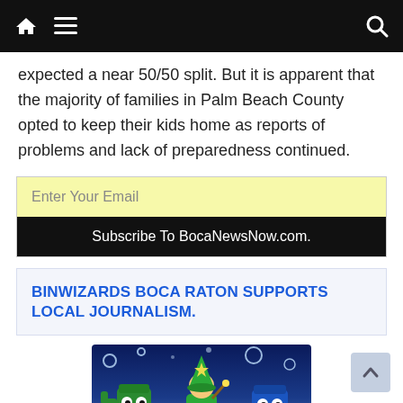Navigation bar with home, menu, and search icons
expected a near 50/50 split. But it is apparent that the majority of families in Palm Beach County opted to keep their kids home as reports of problems and lack of preparedness continued.
Enter Your Email
Subscribe To BocaNewsNow.com.
BINWIZARDS BOCA RATON SUPPORTS LOCAL JOURNALISM.
[Figure (illustration): BinWizard advertisement banner with cartoon bin wizard characters on a dark blue night sky background with the text BinWizard]